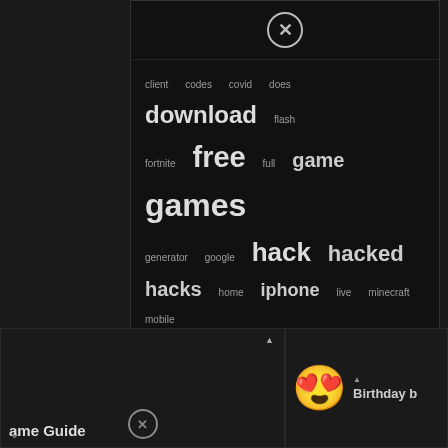[Figure (screenshot): Word cloud displayed in a modal overlay on a dark background. Words shown include: client, codes, covid, does, download (large), flash, fortnite, free (large), full, game (medium-large), games (largest), generator, google, hack (large), hacked (large), hacks (medium-large), home, iphone (medium-large), live, minecraft, mobile, movie, movies, number, online (largest), papa, phone (large), pokemon, roblox, script, sites, start, stream, unblocked (largest), watch (large), what, with, without, your. Words are sized by frequency/importance. Bottom of page shows partial UI elements including a close button, 'ame Guide' text, a heart-eyes emoji, and 'Birthday' text.]